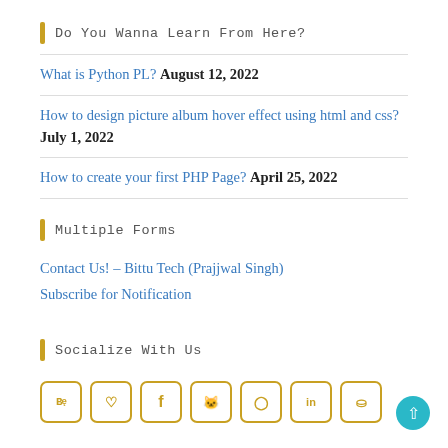Do You Wanna Learn From Here?
What is Python PL? August 12, 2022
How to design picture album hover effect using html and css? July 1, 2022
How to create your first PHP Page? April 25, 2022
Multiple Forms
Contact Us! – Bittu Tech (Prajjwal Singh)
Subscribe for Notification
Socialize With Us
[Figure (other): Row of social media icon buttons (Behance, heart/Deviantart, Facebook, Github, Instagram, LinkedIn, Pinterest) with golden/amber borders and icons]